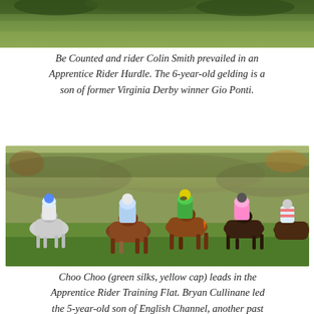[Figure (photo): Top portion of a horse racing/hurdle scene, showing green grassy field]
Be Counted and rider Colin Smith prevailed in an Apprentice Rider Hurdle. The 6-year-old gelding is a son of former Virginia Derby winner Gio Ponti.
[Figure (photo): Group of horse racing jockeys and horses galloping on a grass field. Choo Choo with rider in green silks and yellow cap leads the pack.]
Choo Choo (green silks, yellow cap) leads in the Apprentice Rider Training Flat. Bryan Cullinane led the 5-year-old son of English Channel, another past Virginia Derby winner, to victory.